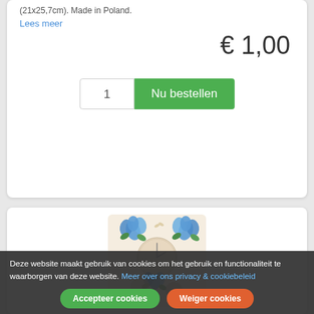(21x25,7cm). Made in Poland.
Lees meer
€ 1,00
1
Nu bestellen
[Figure (photo): Product image showing decorative paper napkins or decoupage sheets with blue floral (hydrangea/peony) motifs and a clock face on a beige background, arranged in a product card.]
Deze website maakt gebruik van cookies om het gebruik en functionaliteit te waarborgen van deze website. Meer over ons privacy & cookiebeleid
Accepteer cookies
Weiger cookies